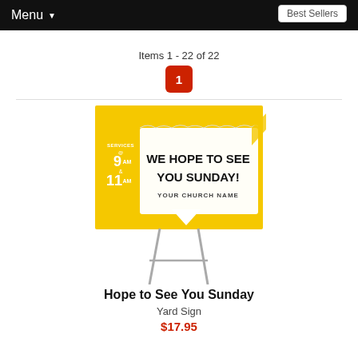Menu
Best Sellers
Items 1 - 22 of 22
1
[Figure (photo): Yard sign product photo showing a yellow background sign on metal stakes reading: SERVICES 9AM & 11AM | WE HOPE TO SEE YOU SUNDAY! | YOUR CHURCH NAME]
Hope to See You Sunday
Yard Sign
$17.95